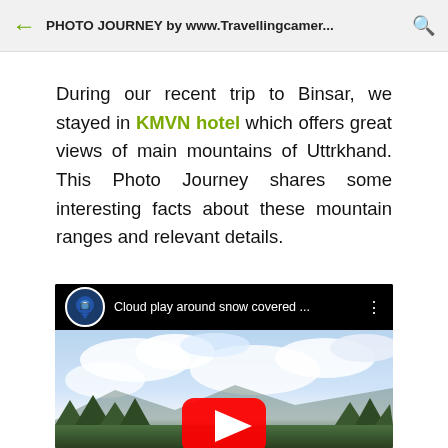PHOTO JOURNEY by www.Travellingcamer...
During our recent trip to Binsar, we stayed in KMVN hotel which offers great views of main mountains of Uttrkhand. This Photo Journey shares some interesting facts about these mountain ranges and relevant details.
[Figure (screenshot): YouTube video thumbnail showing clouds over snow-covered mountains with trees at bottom. Video title: 'Cloud play around snow covered ...' with channel icon showing a camera/location pin logo.]